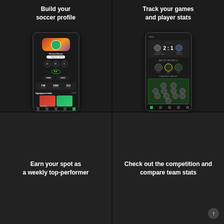Build your soccer profile
[Figure (screenshot): Mobile phone screenshot showing a soccer player profile app screen with player card, stats (746 Followers, 1352 Profile Views, 213 Following), Highlighted Skills section, and navigation bar]
Track your games and player stats
[Figure (screenshot): Mobile phone screenshot showing a match result screen: Dagenham United Clarets 2:1 Ridgeway Rovers, Man of the Match section with player avatars, and Starting Line-Up formation on a green pitch]
Earn your spot as a weekly top-performer
Check out the competition and compare team stats